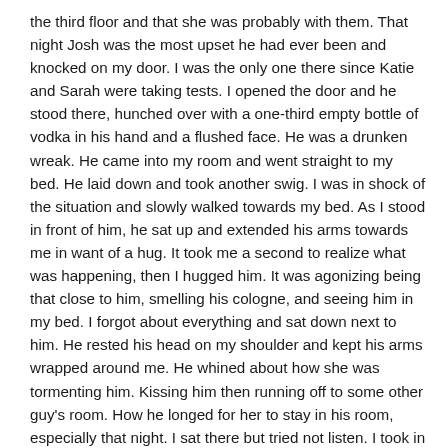the third floor and that she was probably with them. That night Josh was the most upset he had ever been and knocked on my door. I was the only one there since Katie and Sarah were taking tests. I opened the door and he stood there, hunched over with a one-third empty bottle of vodka in his hand and a flushed face. He was a drunken wreak. He came into my room and went straight to my bed. He laid down and took another swig. I was in shock of the situation and slowly walked towards my bed. As I stood in front of him, he sat up and extended his arms towards me in want of a hug. It took me a second to realize what was happening, then I hugged him. It was agonizing being that close to him, smelling his cologne, and seeing him in my bed. I forgot about everything and sat down next to him. He rested his head on my shoulder and kept his arms wrapped around me. He whined about how she was tormenting him. Kissing him then running off to some other guy's room. How he longed for her to stay in his room, especially that night. I sat there but tried not listen. I took in the moment and thought only of his touch and attention. After a few more minutes he stopped whining and laid down behind me and rested his head on my pillow. He starred at the